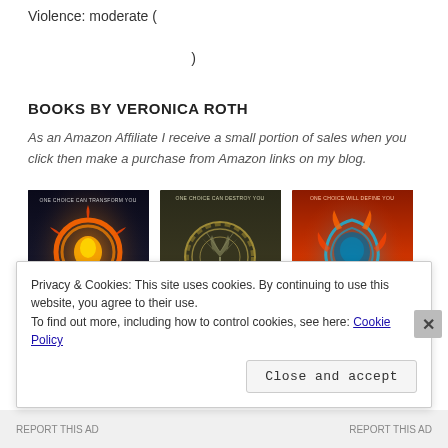Violence: moderate (  )
BOOKS BY VERONICA ROTH
As an Amazon Affiliate I receive a small portion of sales when you click then make a purchase from Amazon links on my blog.
[Figure (photo): Three book covers by Veronica Roth: Divergent Collector's Edition, Insurgent, and Allegiant]
Privacy & Cookies: This site uses cookies. By continuing to use this website, you agree to their use. To find out more, including how to control cookies, see here: Cookie Policy
Close and accept